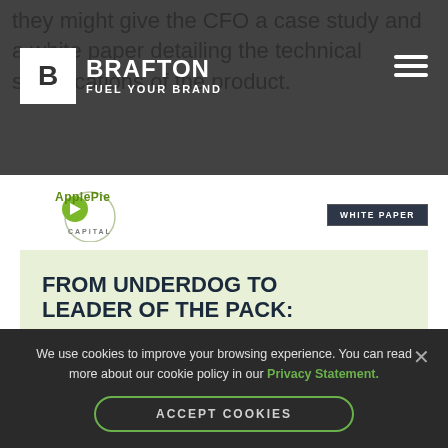they might give the CFO a case study and a white paper detailing the technical specifications of the product.
[Figure (logo): Brafton Fuel Your Brand logo with white B in a white box and text in white on dark background, with hamburger menu icon on the right]
[Figure (logo): ApplePie Capital logo with green pie/play icon and circular text]
WHITE PAPER
FROM UNDERDOG TO LEADER OF THE PACK: How a Financing Partner Breeds Franchise Growth
We use cookies to improve your browsing experience. You can read more about our cookie policy in our Privacy Statement.
ACCEPT COOKIES